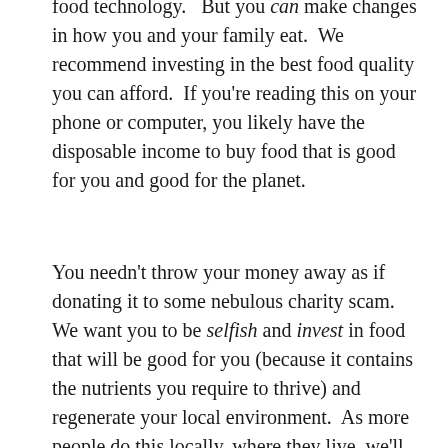food technology.   But you can make changes in how you and your family eat.  We recommend investing in the best food quality you can afford.  If you're reading this on your phone or computer, you likely have the disposable income to buy food that is good for you and good for the planet.
You needn't throw your money away as if donating it to some nebulous charity scam.  We want you to be selfish and invest in food that will be good for you (because it contains the nutrients you require to thrive) and regenerate your local environment.  As more people do this locally, where they live, we'll create a planet that our great-grandchildren will proudly call "home."  They won't have to worry about colonising Mars because we irreparably